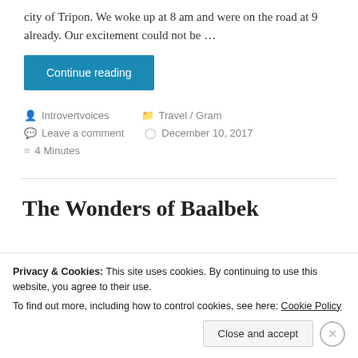city of Tripon. We woke up at 8 am and were on the road at 9 already. Our excitement could not be …
Continue reading
Introvertvoices   Travel / Gram   Leave a comment   December 10, 2017   4 Minutes
The Wonders of Baalbek
Privacy & Cookies: This site uses cookies. By continuing to use this website, you agree to their use. To find out more, including how to control cookies, see here: Cookie Policy
Close and accept